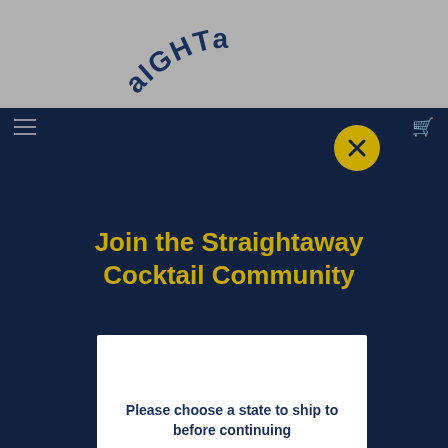[Figure (screenshot): Partial logo arc letters 'aIGHTa' visible at top of page in dark navy on gray background]
Join the Straightaway Cocktail Community
Please choose a state to ship to before continuing
Email